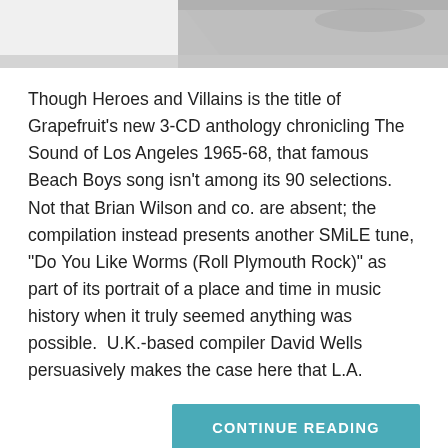[Figure (photo): Partial black and white photo strip at top of page, showing what appears to be a record player or turntable]
Though Heroes and Villains is the title of Grapefruit's new 3-CD anthology chronicling The Sound of Los Angeles 1965-68, that famous Beach Boys song isn't among its 90 selections.  Not that Brian Wilson and co. are absent; the compilation instead presents another SMiLE tune, "Do You Like Worms (Roll Plymouth Rock)" as part of its portrait of a place and time in music history when it truly seemed anything was possible.  U.K.-based compiler David Wells persuasively makes the case here that L.A.
CONTINUE READING
CATEGORIES: NEWS